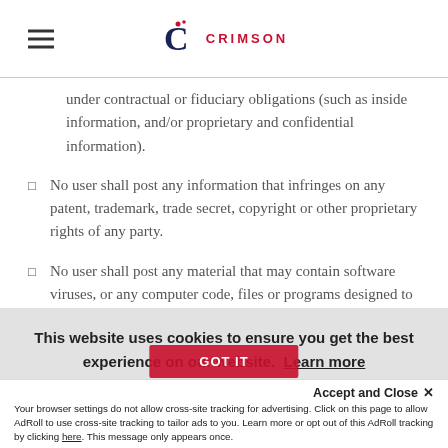CRIMSON
under contractual or fiduciary obligations (such as inside information, and/or proprietary and confidential information).
No user shall post any information that infringes on any patent, trademark, trade secret, copyright or other proprietary rights of any party.
No user shall post any material that may contain software viruses, or any computer code, files or programs designed to interrupt, destroy or limit
This website uses cookies to ensure you get the best experience on our website. Learn more
Accept and Close ✕
Your browser settings do not allow cross-site tracking for advertising. Click on this page to allow AdRoll to use cross-site tracking to tailor ads to you. Learn more or opt out of this AdRoll tracking by clicking here. This message only appears once.